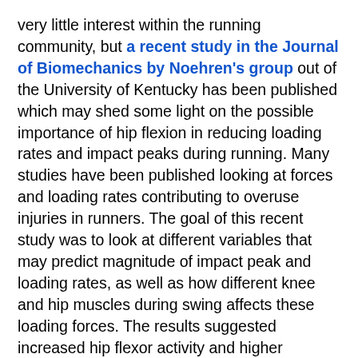very little interest within the running community, but a recent study in the Journal of Biomechanics by Noehren's group out of the University of Kentucky has been published which may shed some light on the possible importance of hip flexion in reducing loading rates and impact peaks during running. Many studies have been published looking at forces and loading rates contributing to overuse injuries in runners. The goal of this recent study was to look at different variables that may predict magnitude of impact peak and loading rates, as well as how different knee and hip muscles during swing affects these loading forces. The results suggested increased hip flexor activity and higher positioned thigh during mid swing decreases velocity of the leg at landing leading to smaller forces at impact (Thank You Noehren's group for studying something other than differences in shod vs unshod runners!).
If we look at this from a biomechanical and kinesiological